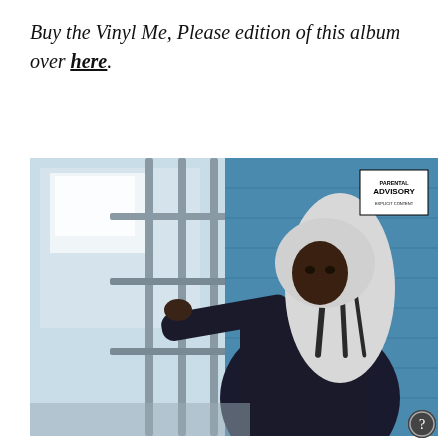Buy the Vinyl Me, Please edition of this album over here.
[Figure (photo): Album cover art showing a person in a dark jacket with long white and dark streaked hair, leaning against metal gate bars with a blue brick wall in the background. A Parental Advisory Explicit Content label appears in the upper right corner of the image.]